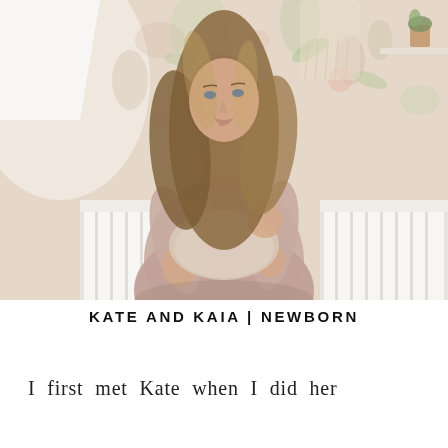[Figure (photo): A woman with long wavy blonde-brown hair holding a newborn baby wrapped in a light blanket, standing in front of a white crib and a floral wallpaper background. There is a lamp on the left and a small shelf with a plant on the upper right.]
KATE AND KAIA | NEWBORN
I first met Kate when I did her